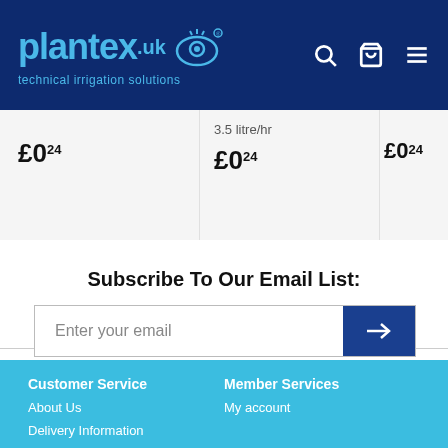[Figure (logo): Plantex UK logo with technical irrigation solutions tagline on dark navy header]
£0.24
3.5 litre/hr
£0.24
£0.24
Subscribe To Our Email List:
Enter your email
Customer Service
Member Services
About Us
My account
Delivery Information